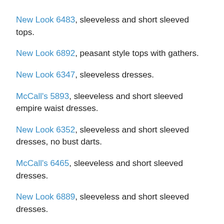New Look 6483, sleeveless and short sleeved tops.
New Look 6892, peasant style tops with gathers.
New Look 6347, sleeveless dresses.
McCall's 5893, sleeveless and short sleeved empire waist dresses.
New Look 6352, sleeveless and short sleeved dresses, no bust darts.
McCall's 6465, sleeveless and short sleeved dresses.
New Look 6889, sleeveless and short sleeved dresses.
McCall's 6558, peasant style tops and dresses, gathers at shoulder and waist.